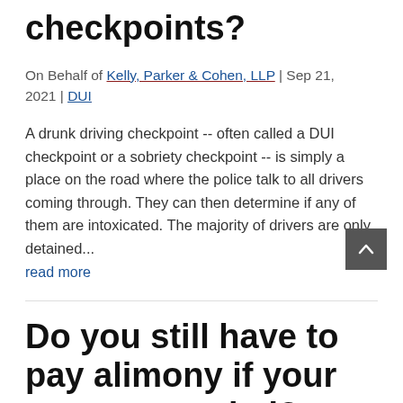checkpoints?
On Behalf of Kelly, Parker & Cohen, LLP | Sep 21, 2021 | DUI
A drunk driving checkpoint -- often called a DUI checkpoint or a sobriety checkpoint -- is simply a place on the road where the police talk to all drivers coming through. They can then determine if any of them are intoxicated. The majority of drivers are only detained...
read more
Do you still have to pay alimony if your ex gets married?